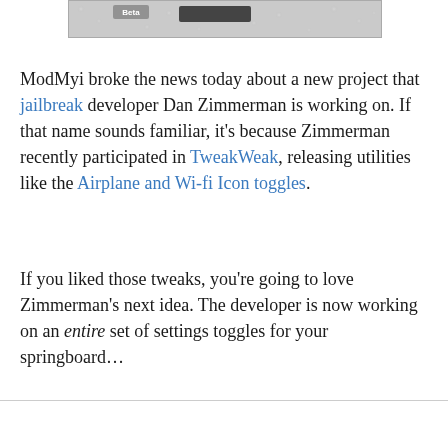[Figure (screenshot): Partial screenshot of a mobile device UI showing a beta/data interface element with gray metallic background and water droplet texture]
ModMyi broke the news today about a new project that jailbreak developer Dan Zimmerman is working on. If that name sounds familiar, it's because Zimmerman recently participated in TweakWeak, releasing utilities like the Airplane and Wi-fi Icon toggles.
If you liked those tweaks, you're going to love Zimmerman's next idea. The developer is now working on an entire set of settings toggles for your springboard…